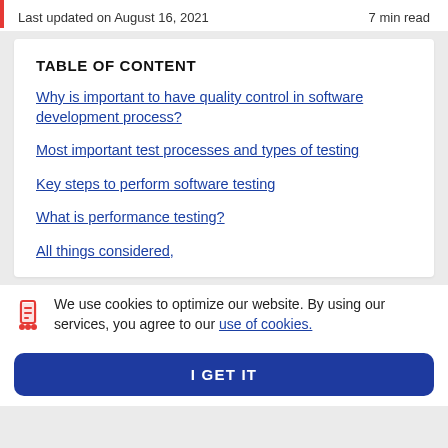Last updated on August 16, 2021   7 min read
TABLE OF CONTENT
Why is important to have quality control in software development process?
Most important test processes and types of testing
Key steps to perform software testing
What is performance testing?
All things considered,
We use cookies to optimize our website. By using our services, you agree to our use of cookies.
I GET IT